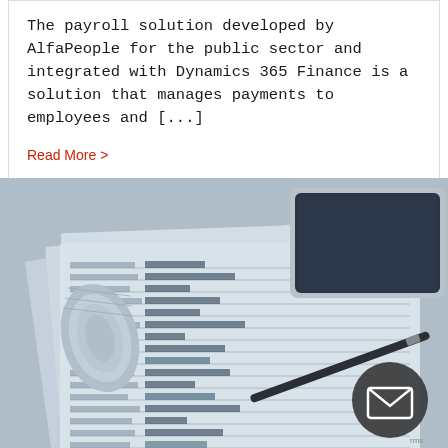The payroll solution developed by AlfaPeople for the public sector and integrated with Dynamics 365 Finance is a solution that manages payments to employees and [...]
Read More >
[Figure (photo): Blue-tinted photograph of financial spreadsheet documents with bar charts, a rolled blueprint, a tablet device, and a pen on a desk.]